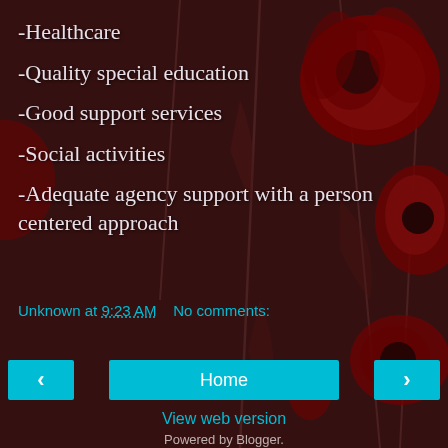-Healthcare
-Quality special education
-Good support services
-Social activities
-Adequate agency support with a person centered approach
Unknown at 9:23 AM    No comments:
Share
< Home >
View web version
Powered by Blogger.